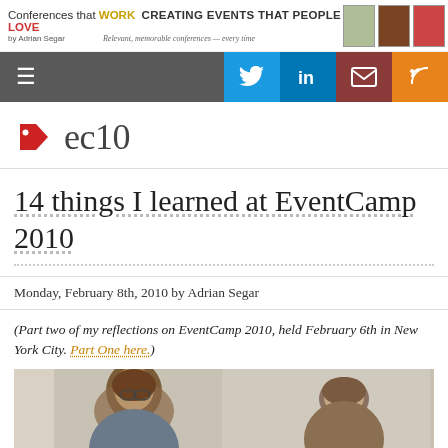Conferences that WORK — CREATING EVENTS THAT PEOPLE LOVE by Adrian Segar | Relevant, memorable conferences — every time
ec10
14 things I learned at EventCamp 2010
Monday, February 8th, 2010 by Adrian Segar
(Part two of my reflections on EventCamp 2010, held February 6th in New York City. Part One here.)
[Figure (photo): Two people at EventCamp 2010 event, photo taken indoors]